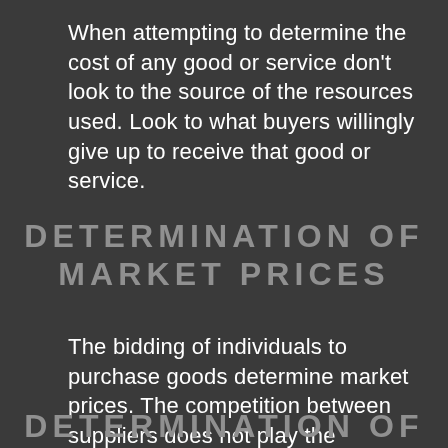When attempting to determine the cost of any good or service don't look to the source of the resources used. Look to what buyers willingly give up to receive that good or service.
DETERMINATION OF MARKET PRICES
The bidding of individuals to purchase goods determine market prices. The competition between suppliers does not play the dominant role in holding down market prices. The bidding of individuals for goods actually stimulates competition between suppliers.
DETERMINATION OF